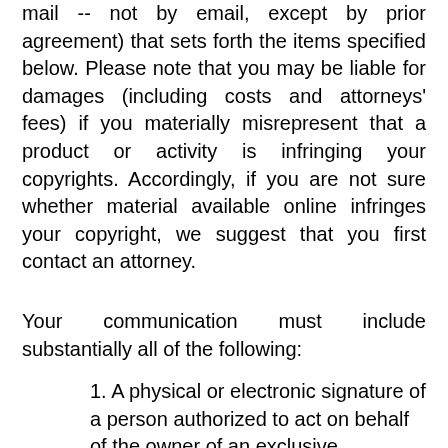mail -- not by email, except by prior agreement) that sets forth the items specified below. Please note that you may be liable for damages (including costs and attorneys' fees) if you materially misrepresent that a product or activity is infringing your copyrights. Accordingly, if you are not sure whether material available online infringes your copyright, we suggest that you first contact an attorney.
Your communication must include substantially all of the following:
1. A physical or electronic signature of a person authorized to act on behalf of the owner of an exclusive